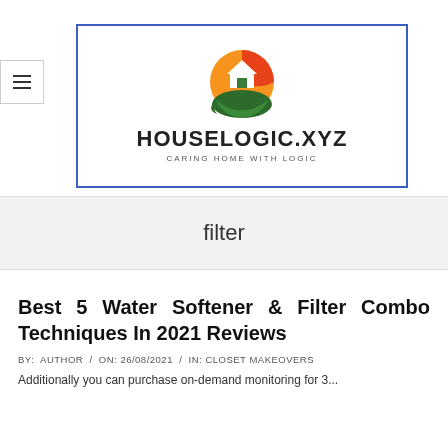[Figure (logo): HouseLogic.XYZ logo with a house icon on an orange/green circular background, blue border box, text HOUSELOGIC.XYZ and tagline CARING HOME WITH LOGIC]
filter
Best 5 Water Softener & Filter Combo Techniques In 2021 Reviews
BY: AUTHOR / ON: 26/08/2021 / IN: CLOSET MAKEOVERS
Additionally you can purchase on-demand monitoring for 3...